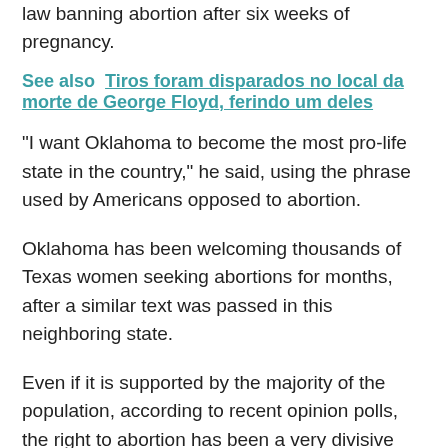law banning abortion after six weeks of pregnancy.
See also  Tiros foram disparados no local da morte de George Floyd, ferindo um deles
“I want Oklahoma to become the most pro-life state in the country,” he said, using the phrase used by Americans opposed to abortion.
Oklahoma has been welcoming thousands of Texas women seeking abortions for months, after a similar text was passed in this neighboring state.
Even if it is supported by the majority of the population, according to recent opinion polls, the right to abortion has been a very divisive social issue since the historic ruling. Raw